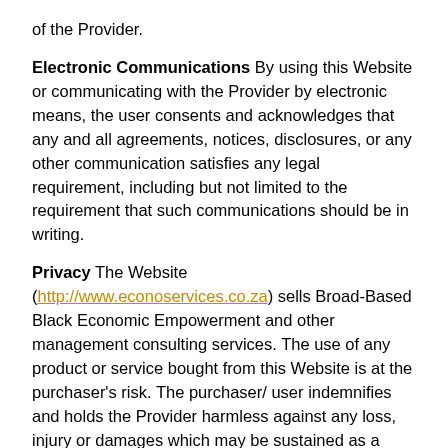of the Provider.
Electronic Communications By using this Website or communicating with the Provider by electronic means, the user consents and acknowledges that any and all agreements, notices, disclosures, or any other communication satisfies any legal requirement, including but not limited to the requirement that such communications should be in writing.
Privacy The Website (http://www.econoservices.co.za) sells Broad-Based Black Economic Empowerment and other management consulting services. The use of any product or service bought from this Website is at the purchaser’s risk. The purchaser/ user indemnifies and holds the Provider harmless against any loss, injury or damages which may be sustained as a result of the products sold on the Website. Please see the POPIA Privacy Policy for more information